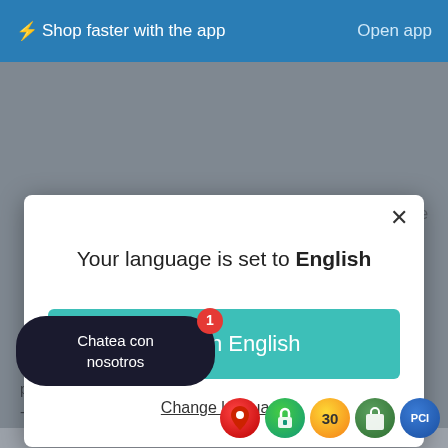⚡ Shop faster with the app    Open app
This gel absorbs directly and feels air-conditioned on the
[Figure (screenshot): Language selection modal dialog with title 'Your language is set to English', a teal 'Shop in English' button, and an underlined 'Change language' link. An X close button is in the top right corner.]
Kate Somerville fans had a good time back this band a tons-anticipated soar across the p contraction-smoothing powerhouses - nutrition A and peptides - it l ar or younger, vast wide-awake look
Chatea con nosotros